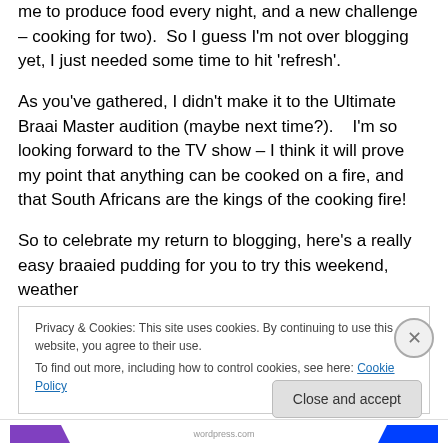me to produce food every night, and a new challenge – cooking for two).  So I guess I'm not over blogging yet, I just needed some time to hit 'refresh'.
As you've gathered, I didn't make it to the Ultimate Braai Master audition (maybe next time?).    I'm so looking forward to the TV show – I think it will prove my point that anything can be cooked on a fire, and that South Africans are the kings of the cooking fire!
So to celebrate my return to blogging, here's a really easy braaied pudding for you to try this weekend, weather
Privacy & Cookies: This site uses cookies. By continuing to use this website, you agree to their use.
To find out more, including how to control cookies, see here: Cookie Policy
Close and accept